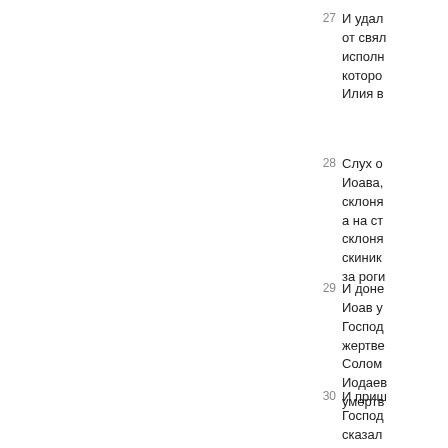27 И удал... от свят... исполн... которо... Илия в...
28 Слух о... Иоава,... склоня... а на ст... склоня... скиниюс... за роги...
29 И доне... Иоав у... Господ... жертве... Солом... Иодаев... умертв...
30 И приш... Господ... сказал... тот: нет...